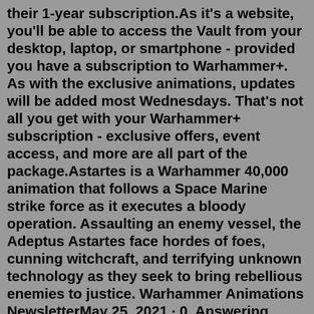their 1-year subscription.As it's a website, you'll be able to access the Vault from your desktop, laptop, or smartphone - provided you have a subscription to Warhammer+. As with the exclusive animations, updates will be added most Wednesdays. That's not all you get with your Warhammer+ subscription - exclusive offers, event access, and more are all part of the package.Astartes is a Warhammer 40,000 animation that follows a Space Marine strike force as it executes a bloody operation. Assaulting an enemy vessel, the Adeptus Astartes face hordes of foes, cunning witchcraft, and terrifying unknown technology as they seek to bring rebellious enemies to justice. Warhammer Animations NewsletterMay 25, 2021 · 0. Answering popular demand for animated content revolving around the Warhammer universe, table-top gaming company Games Workshop has finally announced the launch of its very own streaming service ... Aug 11, 2021 · As it's a website, you'll be able to access the Vault from your desktop, laptop, or smartphone - provided you have a